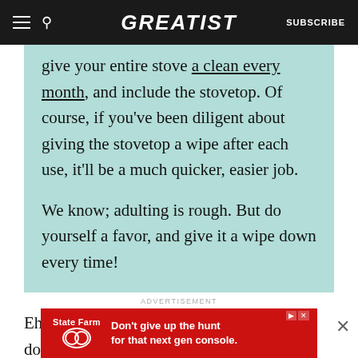GREATIST | SUBSCRIBE
give your entire stove a clean every month, and include the stovetop. Of course, if you've been diligent about giving the stovetop a wipe after each use, it'll be a much quicker, easier job.
We know; adulting is rough. But do yourself a favor, and give it a wipe down every time!
Ehhh, yeah, we feel you. No one wants to do it, and it's not a fun job (unless you put some
[Figure (other): State Farm advertisement banner: red background with State Farm logo and text 'Don't give up the hunt for that next gen console.']